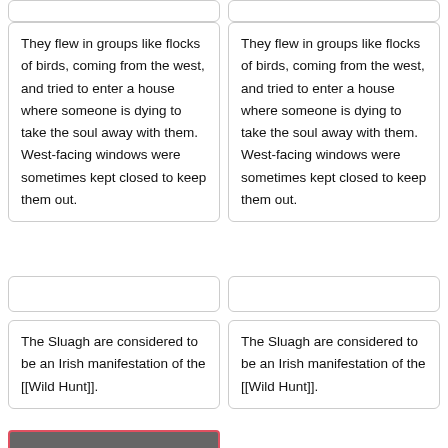They flew in groups like flocks of birds, coming from the west, and tried to enter a house where someone is dying to take the soul away with them.  West-facing windows were sometimes kept closed to keep them out.
They flew in groups like flocks of birds, coming from the west, and tried to enter a house where someone is dying to take the soul away with them.  West-facing windows were sometimes kept closed to keep them out.
The Sluagh are considered to be an Irish manifestation of the [[Wild Hunt]].
The Sluagh are considered to be an Irish manifestation of the [[Wild Hunt]].